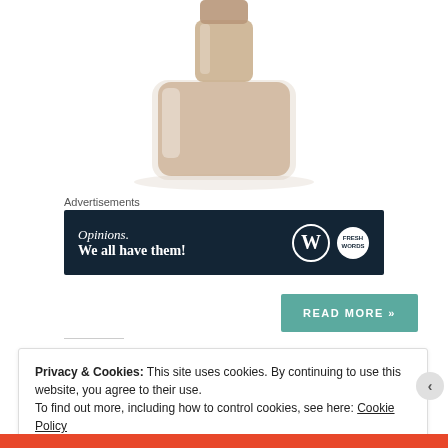[Figure (photo): Partial view of a nail polish bottle with a beige/nude color, glass bottle visible at bottom, white background.]
Advertisements
[Figure (other): Dark navy advertisement banner reading 'Opinions. We all have them!' with WordPress logo and another circular logo on the right.]
READ MORE »
Privacy & Cookies: This site uses cookies. By continuing to use this website, you agree to their use.
To find out more, including how to control cookies, see here: Cookie Policy
Close and accept